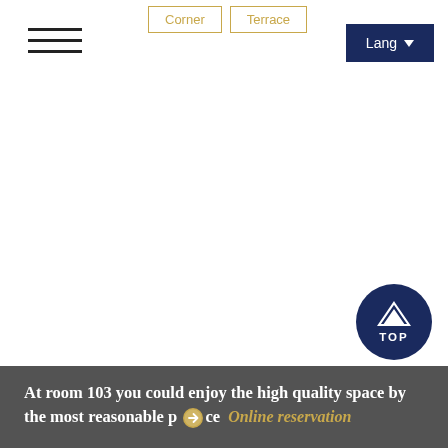[Figure (screenshot): Navigation bar with Corner and Terrace button tabs outlined in gold]
[Figure (other): Hamburger menu icon with three horizontal lines]
[Figure (other): Lang dropdown button on dark navy background]
[Figure (other): TOP circular navy button with hotel logo arrow icon]
At room 103 you could enjoy the high quality space by the most reasonable price  Online reservation